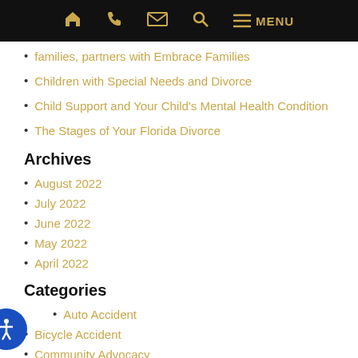Navigation bar with home, phone, email, search, and menu icons
families, partners with Embrace Families
Children with Special Needs and Divorce
Child Support and Your Child's Mental Health Condition
The Stages of Your Florida Divorce
Archives
August 2022
July 2022
June 2022
May 2022
April 2022
Categories
Auto Accident
Bicycle Accident
Community Advocacy
Dog Bite Lawyer